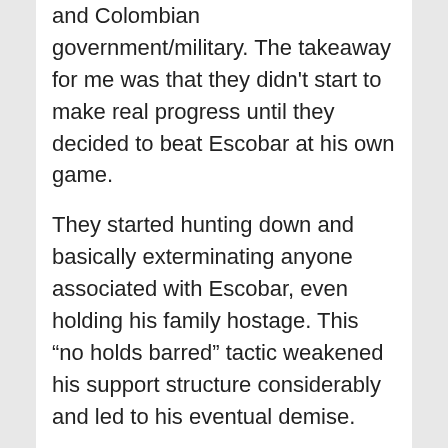and Colombian government/military. The takeaway for me was that they didn't start to make real progress until they decided to beat Escobar at his own game.
They started hunting down and basically exterminating anyone associated with Escobar, even holding his family hostage. This “no holds barred” tactic weakened his support structure considerably and led to his eventual demise.
It’s really difficult to defeat someone that doesn’t play by other people’s rules. Look at Kaiser Soze in “The Usual Suspects.” He was such a badass; he killed his own family so no